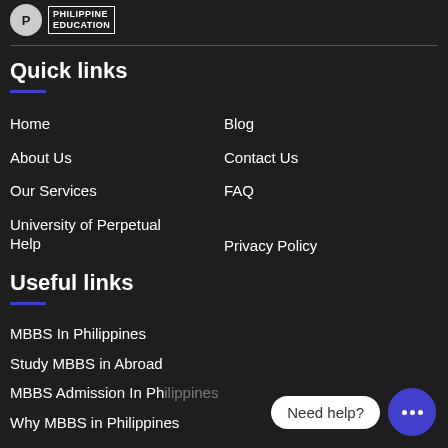[Figure (logo): Philippine Education logo with circular icon and text box]
Quick links
Home
Blog
About Us
Contact Us
Our Services
FAQ
University of Perpetual Help
Privacy Policy
Useful links
MBBS In Philippines
Study MBBS in Abroad
MBBS Admission In Ph...
Why MBBS in Philippines